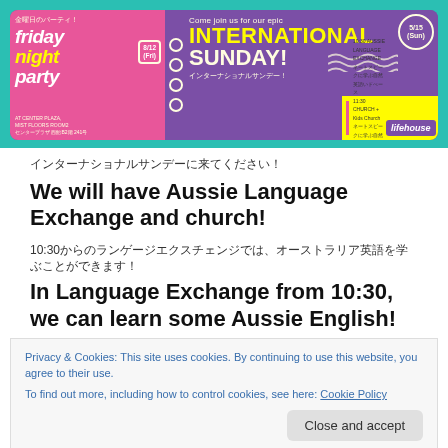[Figure (infographic): Event banner for International Sunday and Friday Night Party at Lifehouse Church. Left side (pink): 'friday night Party' with date badge. Right side (purple): 'Come join us for our epic INTERNATIONAL SUNDAY!' with date 5/15 (Sun). Bottom yellow strip with schedule: 10:30 Aussie Language Exchange, 11:30 Church + Kids Church, 13:30 Church - Familia.]
インターナショナルサンデーに来てください！
We will have Aussie Language Exchange and church!
10:30からのランゲージエクスチェンジでは、オーストラリア英語を学ぶことができます！
In Language Exchange from 10:30, we can learn some Aussie English!
Privacy & Cookies: This site uses cookies. By continuing to use this website, you agree to their use.
To find out more, including how to control cookies, see here: Cookie Policy
[Figure (photo): Bottom strip showing partial photo of people]